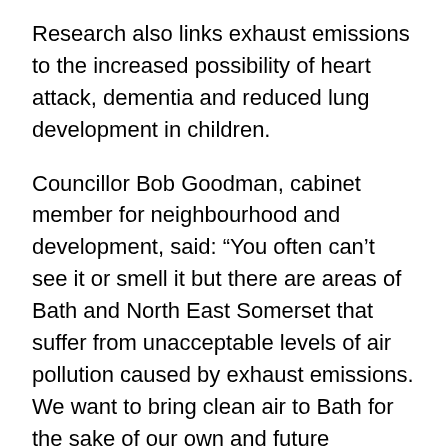Research also links exhaust emissions to the increased possibility of heart attack, dementia and reduced lung development in children.
Councillor Bob Goodman, cabinet member for neighbourhood and development, said: “You often can’t see it or smell it but there are areas of Bath and North East Somerset that suffer from unacceptable levels of air pollution caused by exhaust emissions. We want to bring clean air to Bath for the sake of our own and future generations’ health. The aim of the campaign is to make us all aware that we can help cut pollution by changing our travel habits. Lots of people making small changes can have a positive impact on air quality.”
People can cut their NO₂ contribution by: